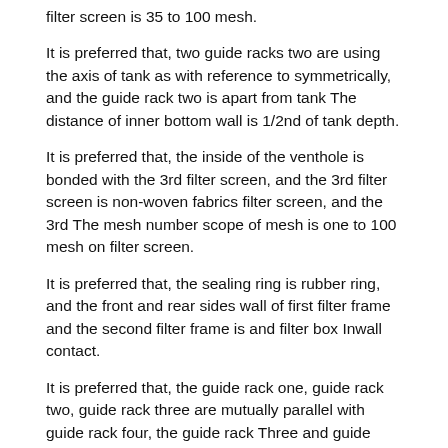filter screen is 35 to 100 mesh.
It is preferred that, two guide racks two are using the axis of tank as with reference to symmetrically, and the guide rack two is apart from tank The distance of inner bottom wall is 1/2nd of tank depth.
It is preferred that, the inside of the venthole is bonded with the 3rd filter screen, and the 3rd filter screen is non-woven fabrics filter screen, and the 3rd The mesh number scope of mesh is one to 100 mesh on filter screen.
It is preferred that, the sealing ring is rubber ring, and the front and rear sides wall of first filter frame and the second filter frame is and filter box Inwall contact.
It is preferred that, the guide rack one, guide rack two, guide rack three are mutually parallel with guide rack four, the guide rack Three and guide rack four top be located at same level height.
It is preferred that, the water inlet end of the drainpipe and the bottom wall of drying baker are located at same level height, the escape pipe Outlet side is located at the lower section of charging hole two, and the outlet side of two